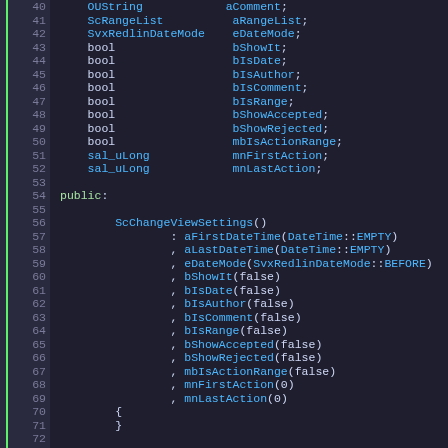[Figure (screenshot): Source code screenshot showing C++ class member declarations and constructor initializer list, lines 40-73, with line numbers on the left and a green vertical bar, dark theme code editor]